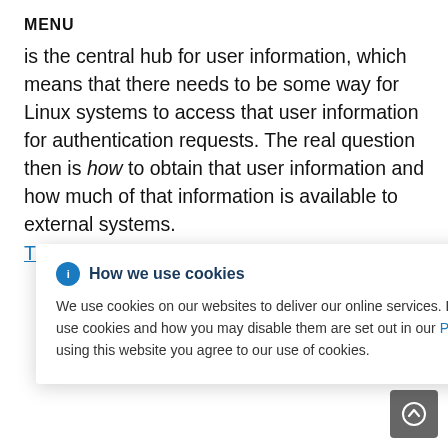MENU
is the central hub for user information, which means that there needs to be some way for Linux systems to access that user information for authentication requests. The real question then is how to obtain that user information and how much of that information is available to external systems. There also needs to be a balance between
How we use cookies
We use cookies on our websites to deliver our online services. Details about how we use cookies and how you may disable them are set out in our Privacy Statement. By using this website you agree to our use of cookies.
POSIX
lication
n is